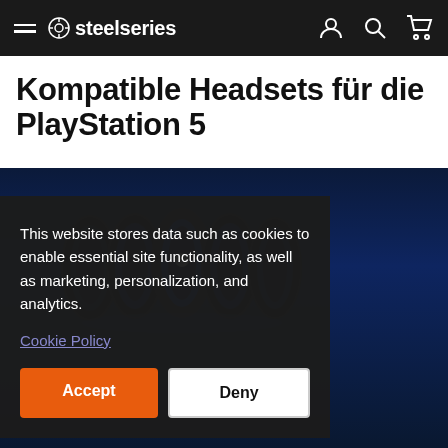steelseries
Kompatible Headsets für die PlayStation 5
[Figure (photo): Multiple SteelSeries headsets displayed in a row with blue accent lighting against a dark navy background.]
This website stores data such as cookies to enable essential site functionality, as well as marketing, personalization, and analytics.
Cookie Policy
Accept
Deny